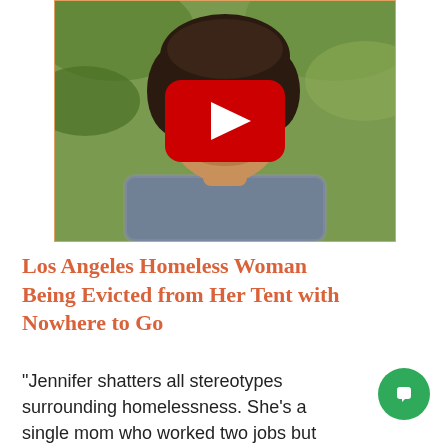[Figure (screenshot): Video thumbnail showing a close-up of a woman's face outdoors with green foliage background, overlaid with a YouTube-style red play button]
Los Angeles Homeless Woman Being Evicted from Her Tent with Nowhere to Go
"Jennifer shatters all stereotypes surrounding homelessness. She's a single mom who worked two jobs but lost both as her rent rising."